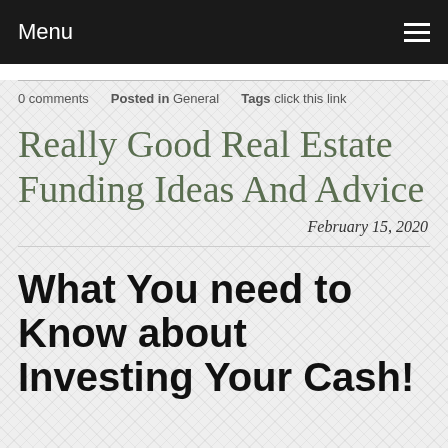Menu
0 comments   Posted in General   Tags click this link
Really Good Real Estate Funding Ideas And Advice
February 15, 2020
What You need to Know about Investing Your Cash!